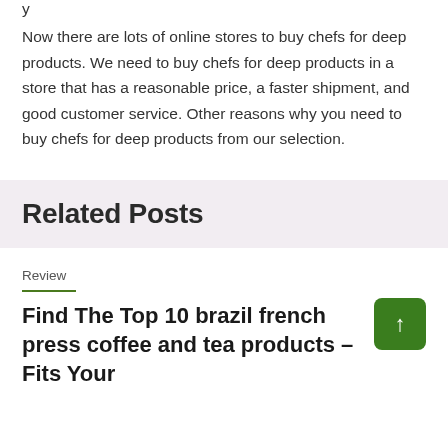Now there are lots of online stores to buy chefs for deep products. We need to buy chefs for deep products in a store that has a reasonable price, a faster shipment, and good customer service. Other reasons why you need to buy chefs for deep products from our selection.
Related Posts
Review
Find The Top 10 brazil french press coffee and tea products –Fits Your